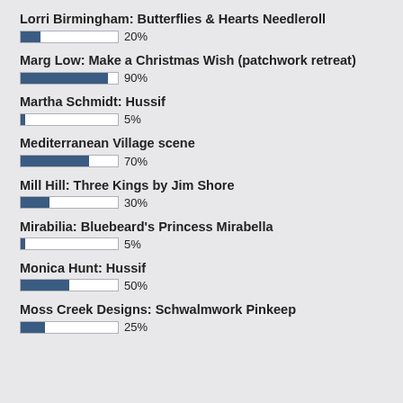Lorri Birmingham: Butterflies & Hearts Needleroll
[Figure (bar-chart): Progress bars]